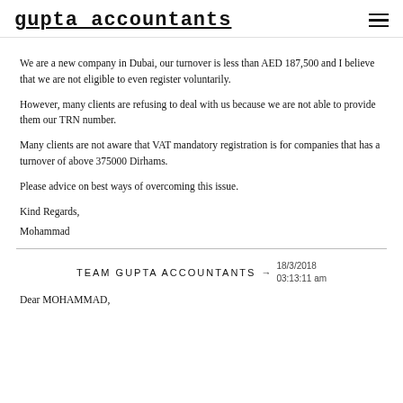gupta accountants
We are a new company in Dubai, our turnover is less than AED 187,500 and I believe that we are not eligible to even register voluntarily.
However, many clients are refusing to deal with us because we are not able to provide them our TRN number.
Many clients are not aware that VAT mandatory registration is for companies that has a turnover of above 375000 Dirhams.
Please advice on best ways of overcoming this issue.
Kind Regards,
Mohammad
TEAM GUPTA ACCOUNTANTS → 18/3/2018 03:13:11 am
Dear MOHAMMAD,